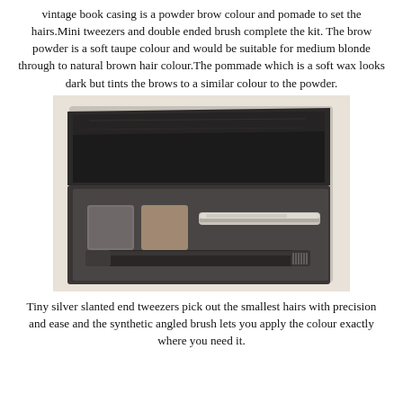vintage book casing is a powder brow colour and pomade to set the hairs.Mini tweezers and double ended brush complete the kit. The brow powder is a soft taupe colour and would be suitable for medium blonde through to natural brown hair colour.The pommade which is a soft wax looks dark but tints the brows to a similar colour to the powder.
[Figure (photo): Open brow kit palette in black packaging showing two powder pans (one dark grey, one taupe/brown), a mini double-ended brush/comb tool, and tweezers, photographed on a light beige/cream background.]
Tiny silver slanted end tweezers pick out the smallest hairs with precision and ease and the synthetic angled brush lets you apply the colour exactly where you need it.